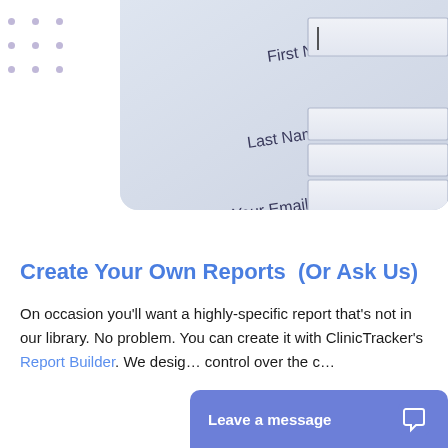[Figure (screenshot): Photo of a paper form with fields labeled First Name, Last Name, Your Email, with input boxes on the right side. A cursor is visible in the First Name field. Decorative purple dot grid visible on the left side.]
Create Your Own Reports  (Or Ask Us)
On occasion you'll want a highly-specific report that's not in our library. No problem. You can create it with ClinicTracker's Report Builder. We design... control over the c...